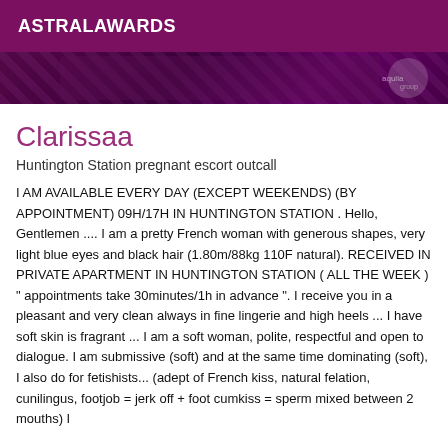ASTRALAWARDS
[Figure (photo): Dark purple/pink patterned banner image with a circular badge/logo watermark on the right side reading 'aquilagroup']
Clarissaa
Huntington Station pregnant escort outcall
I AM AVAILABLE EVERY DAY (EXCEPT WEEKENDS) (BY APPOINTMENT) 09H/17H IN HUNTINGTON STATION . Hello, Gentlemen .... I am a pretty French woman with generous shapes, very light blue eyes and black hair (1.80m/88kg 110F natural). RECEIVED IN PRIVATE APARTMENT IN HUNTINGTON STATION ( ALL THE WEEK ) " appointments take 30minutes/1h in advance ". I receive you in a pleasant and very clean always in fine lingerie and high heels ... I have soft skin is fragrant ... I am a soft woman, polite, respectful and open to dialogue. I am submissive (soft) and at the same time dominating (soft), I also do for fetishists... (adept of French kiss, natural felation, cunilingus, footjob = jerk off + foot cumkiss = sperm mixed between 2 mouths) I